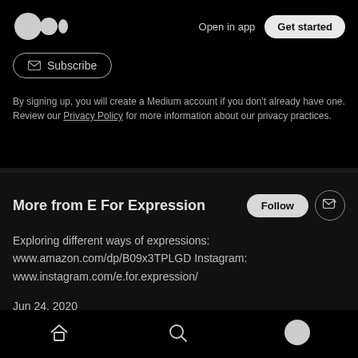[Figure (logo): Medium logo - three circles (two small, one large oval) in light gray on black background]
Open in app
Get started
Subscribe
By signing up, you will create a Medium account if you don't already have one. Review our Privacy Policy for more information about our privacy practices.
More from E For Expression
Follow
Exploring different ways of expressions: www.amazon.com/dp/B09x3TPLGD Instagram: www.instagram.com/e.for.expression/
Jun 24, 2020